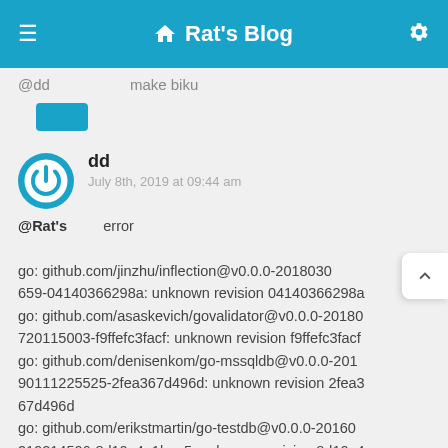Rat's Blog
@dd   make biku
dd
July 8th, 2019 at 09:44 am
@Rat's   error
go: github.com/jinzhu/inflection@v0.0.0-2018030659-04140366298a: unknown revision 04140366298a
go: github.com/asaskevich/govalidator@v0.0.0-20180720115003-f9ffefc3facf: unknown revision f9ffefc3facf
go: github.com/denisenkom/go-mssqldb@v0.0.0-20190111225525-2fea367d496d: unknown revision 2fea367d496d
go: github.com/erikstmartin/go-testdb@v0.0.0-20160219214506-8d10e4a1bae5: unknown revision 8d10e4a1bae5
go: error loading module requirements
make: * [get] Error 1